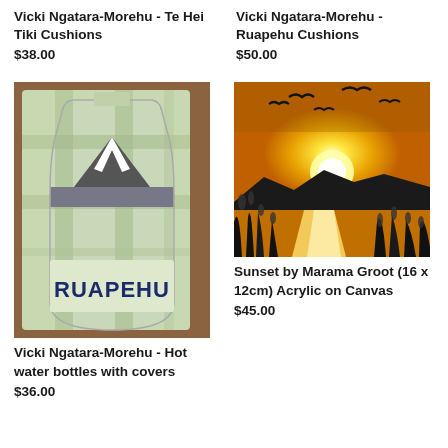Vicki Ngatara-Morehu - Te Hei Tiki Cushions
$38.00
Vicki Ngatara-Morehu - Ruapehu Cushions
$50.00
[Figure (photo): A hot water bottle cover with a plaid/tartan green and blue pattern, featuring a mountain silhouette design and the word RUAPEHU in bold dark letters at the bottom, displayed on a wooden surface.]
[Figure (photo): A painting of a sunset over water with golden/yellow sky, silhouettes of birds flying and reeds/grass in the foreground, reflecting sunlight on the water.]
Vicki Ngatara-Morehu - Hot water bottles with covers
$36.00
Sunset by Marama Groot
(16 x 12cm) Acrylic on Canvas
$45.00